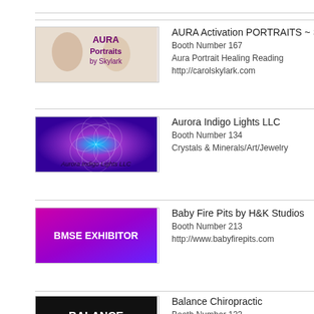[Figure (logo): AURA Portraits by Skylark logo with photo of two people]
AURA Activation PORTRAITS ~ S
Booth Number 167
Aura Portrait Healing Reading
http://carolskylark.com
[Figure (logo): Aurora Indigo Lights LLC logo with geometric flower of life pattern]
Aurora Indigo Lights LLC
Booth Number 134
Crystals & Minerals/Art/Jewelry
[Figure (logo): BMSE Exhibitor logo with purple/pink gradient background]
Baby Fire Pits by H&K Studios
Booth Number 213
http://www.babyfirepits.com
[Figure (logo): Balance Chiropractic logo with black background and white text]
Balance Chiropractic
Booth Number 123
Foundational Chiropractor in Colorado Spring